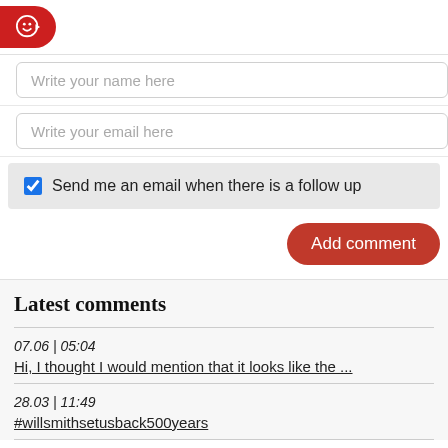[Figure (other): Red rounded button with smiley face emoji icon and arrow, positioned top left]
Write your name here
Write your email here
Send me an email when there is a follow up
Add comment
Latest comments
07.06 | 05:04
Hi, I thought I would mention that it looks like the ...
28.03 | 11:49
#willsmithsetusback500years